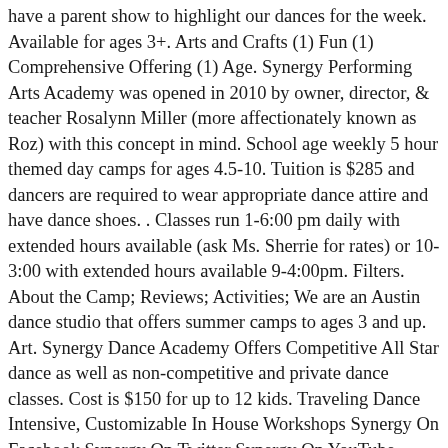have a parent show to highlight our dances for the week. Available for ages 3+. Arts and Crafts (1) Fun (1) Comprehensive Offering (1) Age. Synergy Performing Arts Academy was opened in 2010 by owner, director, & teacher Rosalynn Miller (more affectionately known as Roz) with this concept in mind. School age weekly 5 hour themed day camps for ages 4.5-10. Tuition is $285 and dancers are required to wear appropriate dance attire and have dance shoes. . Classes run 1-6:00 pm daily with extended hours available (ask Ms. Sherrie for rates) or 10-3:00 with extended hours available 9-4:00pm. Filters. About the Camp; Reviews; Activities; We are an Austin dance studio that offers summer camps to ages 3 and up. Art. Synergy Dance Academy Offers Competitive All Star dance as well as non-competitive and private dance classes. Cost is $150 for up to 12 kids. Traveling Dance Intensive, Customizable In House Workshops Synergy On Facebook Synergy On Twitter Synergy On YouTube Synergy On Instagram Welcome to the 2020/2021 season! Tel: +39 347 477 4007 Adelaide Tourism; Adelaide Hotels; Adelaide Bed and Breakfast; Adelaide Holiday Rentals; Adelaide Packages; Flights to Adelaide; Adelaide Restaurants; Adelaide Attractions; Call 512-337-